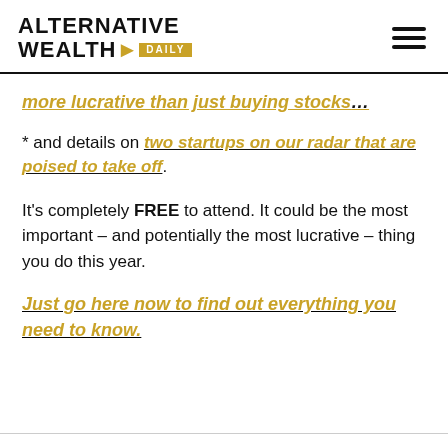ALTERNATIVE WEALTH DAILY
more lucrative than just buying stocks…
* and details on two startups on our radar that are poised to take off.
It's completely FREE to attend. It could be the most important – and potentially the most lucrative – thing you do this year.
Just go here now to find out everything you need to know.